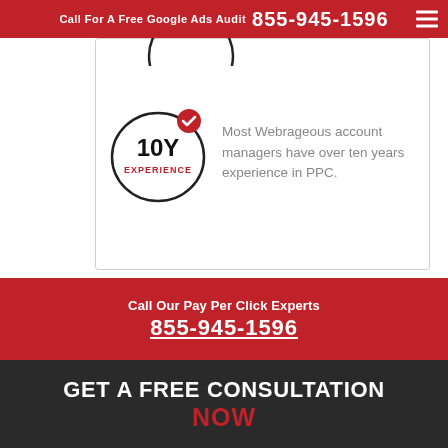Call For A Free Google Ads Audit  855-945-1596
[Figure (illustration): Circular badge with checkmark icon showing '10Y EXPERIENCE' text inside a hand-drawn style circle with a red checkmark badge]
Most Webrageous account managers have over ten years experience in PPC.
Call Our Pay Per Click Experts
855-945-1596
GET A FREE CONSULTATION NOW